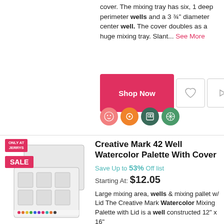cover. The mixing tray has six, 1 deep perimeter wells and a 3 ¾" diameter center well. The cover doubles as a huge mixing tray. Slant... See More
[Figure (other): Shop Now button with heart and play icon buttons, and four colored circular icons below]
[Figure (photo): Creative Mark 42 Well Watercolor Palette with cover, shown open and closed, with ONLY AT JERRYS and SALE badges]
Creative Mark 42 Well Watercolor Palette With Cover
Save Up to 53% Off list
Starting At: $12.05
Large mixing area, wells & mixing pallet w/ Lid The Creative Mark Watercolor Mixing Palette with Lid is a well constructed 12" x 16"